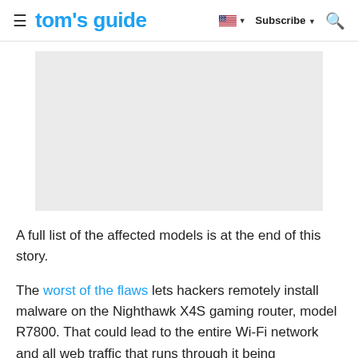tom's guide — Subscribe
[Figure (other): Advertisement placeholder box, light gray background]
A full list of the affected models is at the end of this story.
The worst of the flaws lets hackers remotely install malware on the Nighthawk X4S gaming router, model R7800. That could lead to the entire Wi-Fi network and all web traffic that runs through it being compromised. Netgear gives that vulnerability a